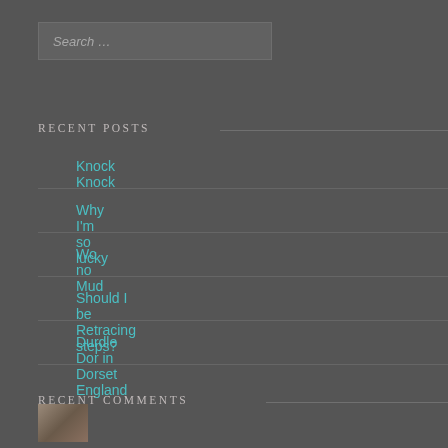Search …
RECENT POSTS
Knock Knock
Why I'm so lucky
Wo no Mud
Should I be Retracing steps?
Durdle Dor in Dorset England
RECENT COMMENTS
[Figure (photo): Small thumbnail image at bottom left]